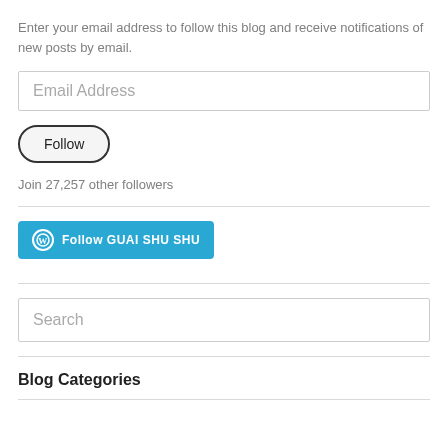Enter your email address to follow this blog and receive notifications of new posts by email.
[Figure (screenshot): Email Address input field placeholder text]
[Figure (screenshot): Follow button with rounded border]
Join 27,257 other followers
[Figure (screenshot): WordPress Follow GUAI SHU SHU button in blue]
[Figure (screenshot): Search input field placeholder text]
Blog Categories